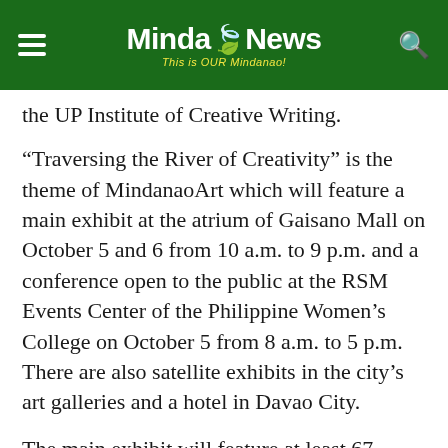MindaNews — This is OUR Mindanao!
the UP Institute of Creative Writing.
“Traversing the River of Creativity” is the theme of MindanaoArt which will feature a main exhibit at the atrium of Gaisano Mall on October 5 and 6 from 10 a.m. to 9 p.m. and a conference open to the public at the RSM Events Center of the Philippine Women’s College on October 5 from 8 a.m. to 5 p.m. There are also satellite exhibits in the city’s art galleries and a hotel in Davao City.
The main exhibit will feature at least 67 artists from ten art galleries and groups – six from Davao and one each from Butuan, Cagayan de Oro, Zamboanga and